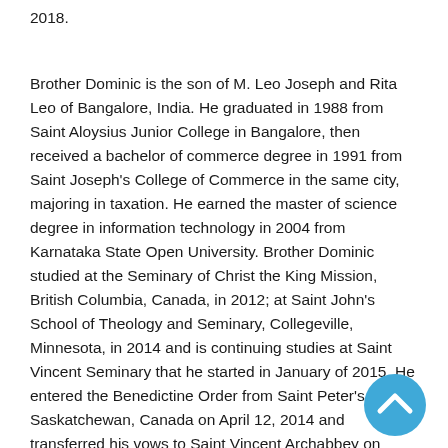2018.
Brother Dominic is the son of M. Leo Joseph and Rita Leo of Bangalore, India. He graduated in 1988 from Saint Aloysius Junior College in Bangalore, then received a bachelor of commerce degree in 1991 from Saint Joseph's College of Commerce in the same city, majoring in taxation. He earned the master of science degree in information technology in 2004 from Karnataka State Open University. Brother Dominic studied at the Seminary of Christ the King Mission, British Columbia, Canada, in 2012; at Saint John's School of Theology and Seminary, Collegeville, Minnesota, in 2014 and is continuing studies at Saint Vincent Seminary that he started in January of 2015. He entered the Benedictine Order from Saint Peter's Abbey, Saskatchewan, Canada on April 12, 2014 and transferred his vows to Saint Vincent Archabbey on
[Figure (other): Blue circular scroll-to-top button with white upward chevron arrow]